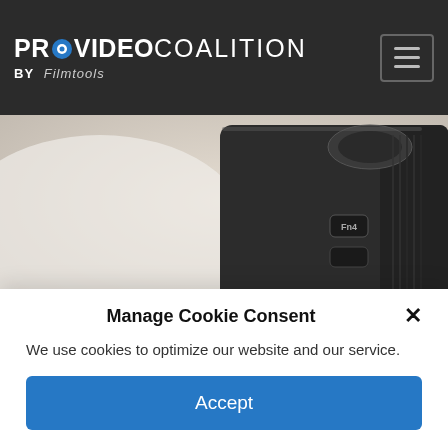PROVIDEO COALITION BY Filmtools
[Figure (photo): Close-up photograph of a Panasonic DMC-GH3 camera body showing the top right portion with control dials, Fn4 button, and grip texture. A watermark reading 'adam1. Wilt' is visible in the lower right.]
Panasonic DMC-GH3.
With the GH2 (and the GH1 before it), the small grip meant my fingers were pressed hard into
Manage Cookie Consent
We use cookies to optimize our website and our service.
Accept